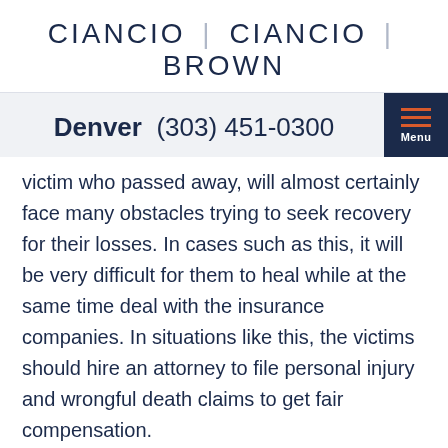CIANCIO | CIANCIO | BROWN
Denver  (303) 451-0300
victim who passed away, will almost certainly face many obstacles trying to seek recovery for their losses. In cases such as this, it will be very difficult for them to heal while at the same time deal with the insurance companies. In situations like this, the victims should hire an attorney to file personal injury and wrongful death claims to get fair compensation.
If you have questions, please contact an attorney at Ciancio Ciancio Brown, P.C. at 303-451-0300